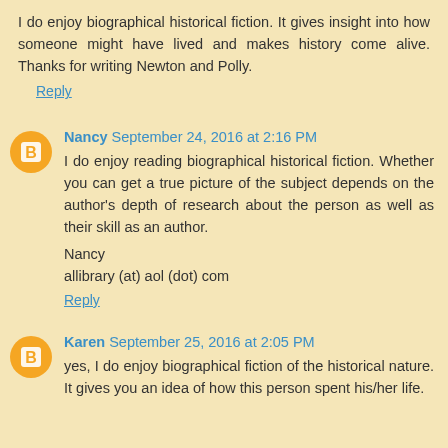I do enjoy biographical historical fiction. It gives insight into how someone might have lived and makes history come alive. Thanks for writing Newton and Polly.
Reply
Nancy September 24, 2016 at 2:16 PM
I do enjoy reading biographical historical fiction. Whether you can get a true picture of the subject depends on the author's depth of research about the person as well as their skill as an author.
Nancy
allibrary (at) aol (dot) com
Reply
Karen September 25, 2016 at 2:05 PM
yes, I do enjoy biographical fiction of the historical nature. It gives you an idea of how this person spent his/her life.